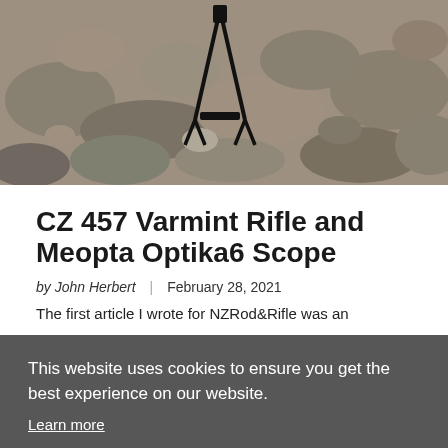[Figure (photo): Photo of a rifle or bipod on gravel/rocks background, black metal equipment visible against grey stones]
CZ 457 Varmint Rifle and Meopta Optika6 Scope
by John Herbert  |  February 28, 2021
The first article I wrote for NZRod&Rifle was an
This website uses cookies to ensure you get the best experience on our website.
Learn more
GOT IT!
[Figure (photo): Bottom strip of a photo showing a dark rifle scope with text 'FORMANCE 150U' visible]